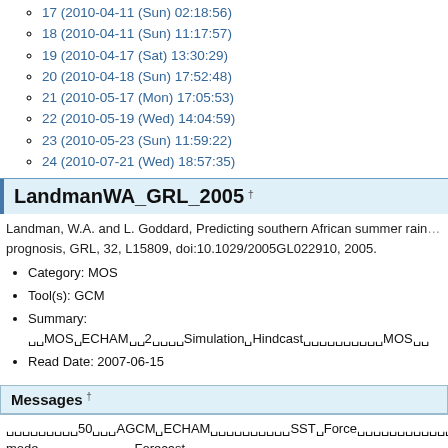17 (2010-04-11 (Sun) 02:18:56)
18 (2010-04-11 (Sun) 11:17:57)
19 (2010-04-17 (Sat) 13:30:29)
20 (2010-04-18 (Sun) 17:52:48)
21 (2010-05-17 (Mon) 17:05:53)
22 (2010-05-19 (Wed) 14:04:59)
23 (2010-05-23 (Sun) 11:59:22)
24 (2010-07-21 (Wed) 18:57:35)
LandmanWA_GRL_2005 †
Landman, W.A. and L. Goddard, Predicting southern African summer rain… prognosis, GRL, 32, L15809, doi:10.1029/2005GL022910, 2005.
Category: MOS
Tool(s): GCM
Summary: □□MOS□ECHAM□□2□□□□Simulation□Hindcast□□□□□□□□□□MOS□□
Read Date: 2007-06-15
Messages †
□□□□□□□□□50□□□AGCM□ECHAM□□□□□□□□□□□SST□Force□□□□□□□□□□□□□□□□MOS□□□□ mode□□□□□□□□□□□□Forecast mode□□□□□□□□□□□□□□□MOS□□□□□Perfect Prog□□□□□□ □□Skill□□□□ranked probability skill score(RPSS)□□□□□□□□□□□□□□□□□□□□□□□□Mo□